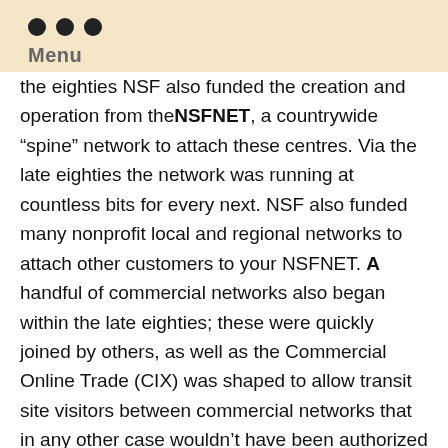Menu
the eighties NSF also funded the creation and operation from the NSFNET, a countrywide “spine” network to attach these centres. Via the late eighties the network was running at countless bits for every next. NSF also funded many nonprofit local and regional networks to attach other customers to your NSFNET. A handful of commercial networks also began within the late eighties; these were quickly joined by others, as well as the Commercial Online Trade (CIX) was shaped to allow transit site visitors between commercial networks that in any other case wouldn’t have been authorized about the NSFNET spine. In 1995, soon after extensive critique of the problem, NSF resolved that aid from the NSFNET infrastructure was no more necessary, considering the fact that quite a few commercial suppliers were now prepared and ready to meet up with the needs from the analysis community, and its aid was withdrawn. In the meantime, NSF experienced fostered a competitive selection of commercial Online backbones connected to each other by